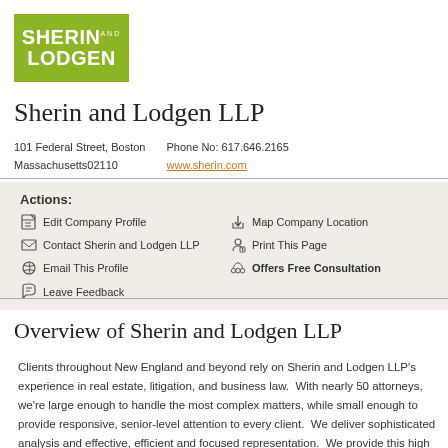[Figure (logo): Sherin and Lodgen LLP logo — green rectangle with white text reading SHERIN AND LODGEN]
Sherin and Lodgen LLP
101 Federal Street, Boston Massachusetts02110
Phone No: 617.646.2165
www.sherin.com
Actions:
Edit Company Profile
Contact Sherin and Lodgen LLP
Email This Profile
Leave Feedback
Map Company Location
Print This Page
Offers Free Consultation
Overview of Sherin and Lodgen LLP
Clients throughout New England and beyond rely on Sherin and Lodgen LLP's experience in real estate, litigation, and business law. With nearly 50 attorneys, we're large enough to handle the most complex matters, while small enough to provide responsive, senior-level attention to every client. We deliver sophisticated analysis and effective, efficient and focused representation. We provide this high level of service by developing an in-depth understanding